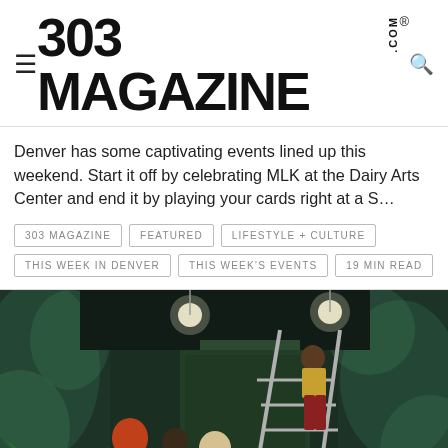303 MAGAZINE
Denver has some captivating events lined up this weekend. Start it off by celebrating MLK at the Dairy Arts Center and end it by playing your cards right at a S…
303 MAGAZINE
FEATURED
LIFESTYLE + CULTURE
THIS WEEK IN DENVER
THIS WEEK'S EVENTS
19 MIN READ
[Figure (photo): People working inside a dark room with green jungle-themed mural walls. One person climbs a ladder while others stand below, with tropical plants in the foreground.]